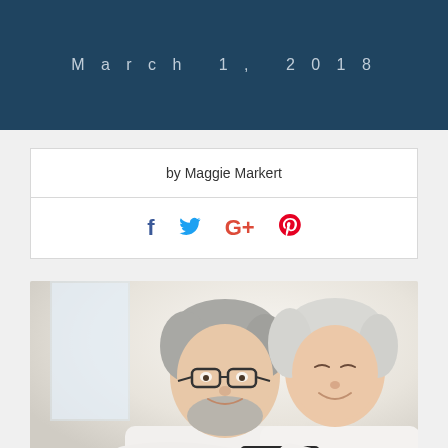March 1, 2018
by Maggie Markert
[Figure (infographic): Social media share icons: Facebook (f), Twitter (bird), Google+ (G+), Pinterest (P)]
[Figure (photo): An elderly couple, man with glasses and gray beard and woman with white hair, smiling together looking at a tablet device. Both wearing white tops.]